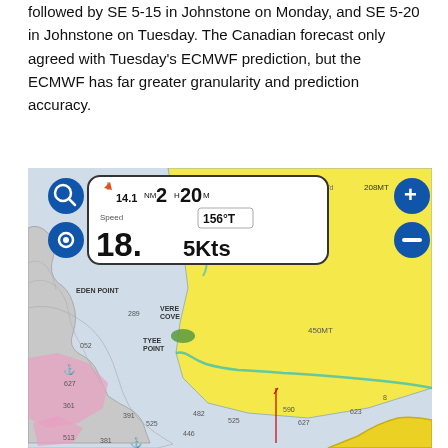followed by SE 5-15 in Johnstone on Monday, and SE 5-20 in Johnstone on Tuesday. The Canadian forecast only agreed with Tuesday's ECMWF prediction, but the ECMWF has far greater granularity and prediction accuracy.
[Figure (map): Marine navigation chart screenshot showing a chartplotter display with speed overlay (18.5 Kts, 156°T, 14.1NM 2H20M) and a nautical map of Johnstone Strait area featuring Eden Point, Vere Cove, Tyee Point, depth soundings, yellow land/shallow areas, pink zones, and teal shoreline markers.]